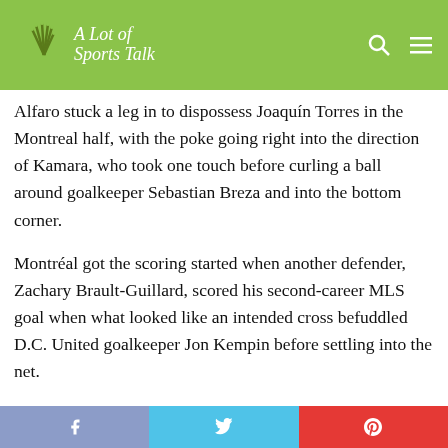A Lot of Sports Talk
halftime … D.C. United scored within 10 minutes of the second half to take the lead. Defender Antonio Alfaro stuck a leg in to dispossess Joaquín Torres in the Montreal half, with the poke going right into the direction of Kamara, who took one touch before curling a ball around goalkeeper Sebastian Breza and into the bottom corner.
Montréal got the scoring started when another defender, Zachary Brault-Guillard, scored his second-career MLS goal when what looked like an intended cross befuddled D.C. United goalkeeper Jon Kempin before settling into the net.
*Editor's note: Above the byline is the photo gallery from Sunday evening's game, with all the photos produced by DC-area photographer Yusuf Abdullah. After clicking on the first photo to enlarge the picture, make sure to press the left and right arrow buttons to scroll through the rest
Facebook | Twitter | Pinterest